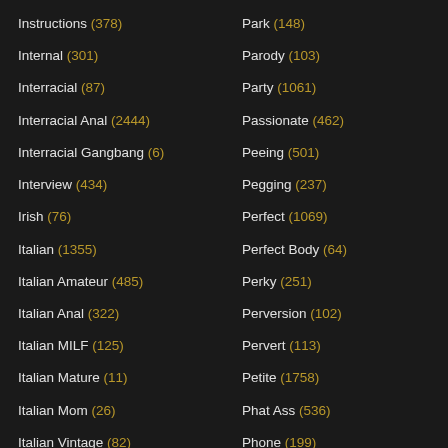Instructions (378)
Internal (301)
Interracial (87)
Interracial Anal (2444)
Interracial Gangbang (6)
Interview (434)
Irish (76)
Italian (1355)
Italian Amateur (485)
Italian Anal (322)
Italian MILF (125)
Italian Mature (11)
Italian Mom (26)
Italian Vintage (82)
JAV (402)
JOI (2069)
Park (148)
Parody (103)
Party (1061)
Passionate (462)
Peeing (501)
Pegging (237)
Perfect (1069)
Perfect Body (64)
Perky (251)
Perversion (102)
Pervert (113)
Petite (1758)
Phat Ass (536)
Phone (199)
Photoshoot (115)
Pick Up (289)